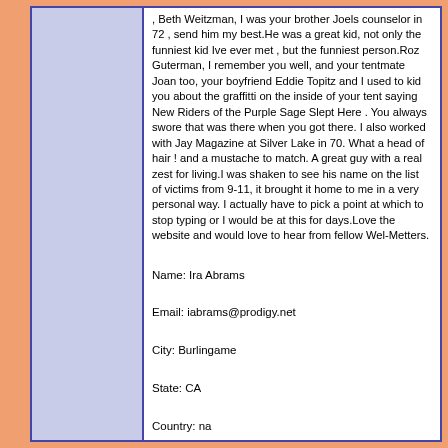, Beth Weitzman, I was your brother Joels counselor in 72 , send him my best.He was a great kid, not only the funniest kid Ive ever met , but the funniest person.Roz Guterman, I remember you well, and your tentmate Joan too, your boyfriend Eddie Topitz and I used to kid you about the graffitti on the inside of your tent saying New Riders of the Purple Sage Slept Here . You always swore that was there when you got there. I also worked with Jay Magazine at Silver Lake in 70. What a head of hair ! and a mustache to match. A great guy with a real zest for living.I was shaken to see his name on the list of victims from 9-11, it brought it home to me in a very personal way. I actually have to pick a point at which to stop typing or I would be at this for days.Love the website and would love to hear from fellow Wel-Metters.
Name: Ira Abrams
Email: iabrams@prodigy.net
City: Burlingame
State: CA
Country: na